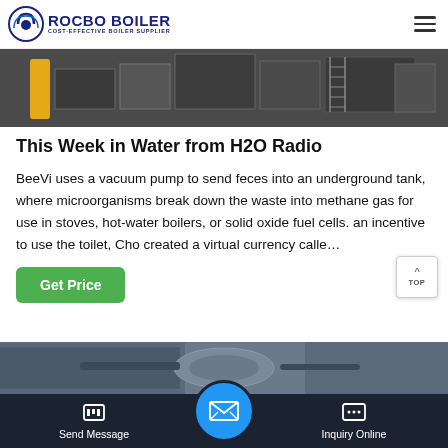ROCBO BOILER — COST-EFFECTIVE BOILER SUPPLIER
[Figure (photo): Industrial boiler equipment photo, dark tones, partially cropped at top]
This Week in Water from H2O Radio
BeeVi uses a vacuum pump to send feces into an underground tank, where microorganisms break down the waste into methane gas for use in stoves, hot-water boilers, or solid oxide fuel cells. an incentive to use the toilet, Cho created a virtual currency calle…
[Figure (photo): Industrial boiler/pipe equipment photo, partially visible at bottom]
Send Message | Inquiry Online